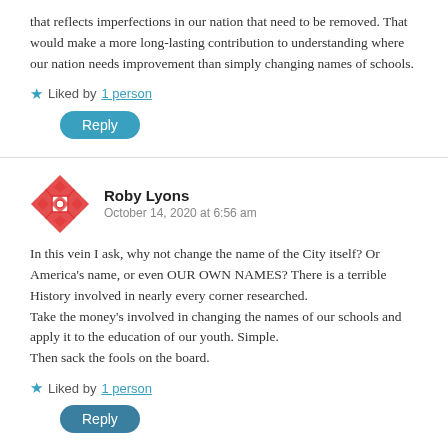that reflects imperfections in our nation that need to be removed. That would make a more long-lasting contribution to understanding where our nation needs improvement than simply changing names of schools.
★ Liked by 1 person
Reply
Roby Lyons
October 14, 2020 at 6:56 am
In this vein I ask, why not change the name of the City itself? Or America's name, or even OUR OWN NAMES? There is a terrible History involved in nearly every corner researched.
Take the money's involved in changing the names of our schools and apply it to the education of our youth. Simple.
Then sack the fools on the board.
★ Liked by 1 person
Reply